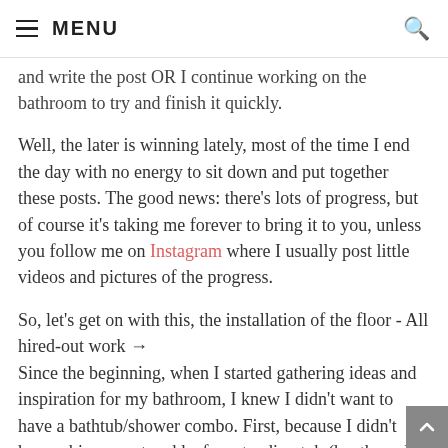≡ MENU
and write the post OR I continue working on the bathroom to try and finish it quickly.
Well, the later is winning lately, most of the time I end the day with no energy to sit down and put together these posts. The good news: there's lots of progress, but of course it's taking me forever to bring it to you, unless you follow me on Instagram where I usually post little videos and pictures of the progress.
So, let's get on with this, the installation of the floor - All hired-out work →
Since the beginning, when I started gathering ideas and inspiration for my bathroom, I knew I didn't want to have a bathtub/shower combo. First, because I didn't have a big space to add a free standing tub (ha, the only ones I like ☺) and second, the reality is, I hardly ever take baths